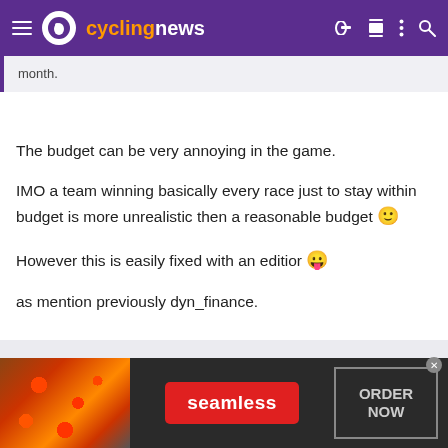cyclingnews
month.
The budget can be very annoying in the game.
IMO a team winning basically every race just to stay within budget is more unrealistic then a reasonable budget 🙂
However this is easily fixed with an editior 😛
as mention previously dyn_finance.
[Figure (other): Seamless food delivery advertisement banner with pizza image, red Seamless button, and ORDER NOW box]